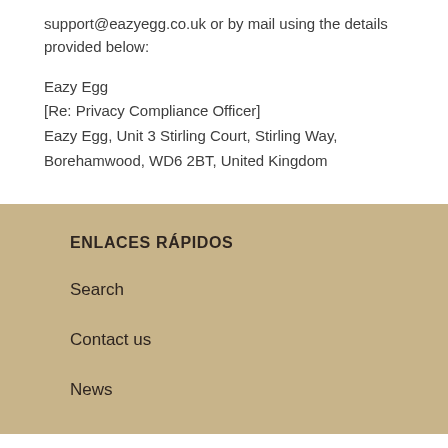support@eazyegg.co.uk or by mail using the details provided below:
Eazy Egg
[Re: Privacy Compliance Officer]
Eazy Egg, Unit 3 Stirling Court, Stirling Way, Borehamwood, WD6 2BT, United Kingdom
ENLACES RÁPIDOS
Search
Contact us
News